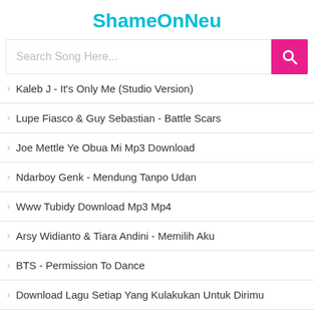ShameOnNeu
Search Song Here...
Kaleb J - It's Only Me (Studio Version)
Lupe Fiasco & Guy Sebastian - Battle Scars
Joe Mettle Ye Obua Mi Mp3 Download
Ndarboy Genk - Mendung Tanpo Udan
Www Tubidy Download Mp3 Mp4
Arsy Widianto & Tiara Andini - Memilih Aku
BTS - Permission To Dance
Download Lagu Setiap Yang Kulakukan Untuk Dirimu
Planet Lagu
Kaleb J - Now I Know
Salute Mp3 Download
Www Wapdam Com Download Mp3 Music